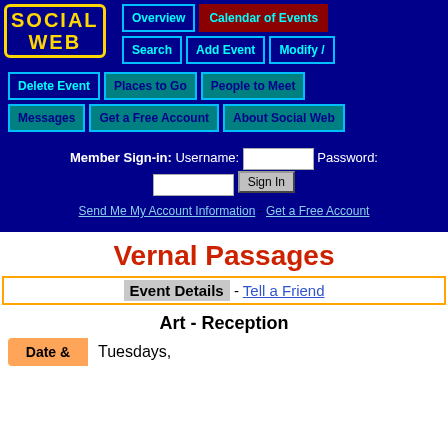[Figure (logo): Social Web logo with yellow text on dark blue background with decorative border]
Overview
Calendar of Events
Search
Add Event
Modify /
Delete Event
Places to Go
People to Meet
Messages
Get a Free Account
About Social Web
Member Sign-in: Username:  Password:
Send Me My Account Information - Get a Free Account
Vernal Passages
Event Details - Tell a Friend
Art - Reception
Date & Tuesdays,